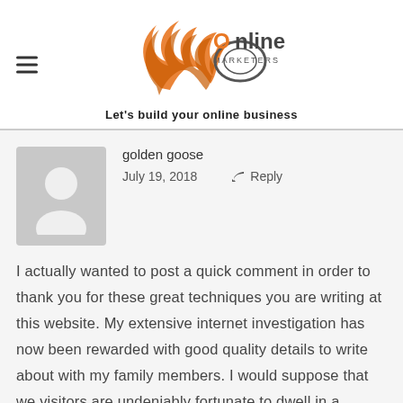[Figure (logo): JR Online Marketers logo with orange swirl graphic and tagline 'Let's build your online business']
golden goose
July 19, 2018   ↩ Reply
I actually wanted to post a quick comment in order to thank you for these great techniques you are writing at this website. My extensive internet investigation has now been rewarded with good quality details to write about with my family members. I would suppose that we visitors are undeniably fortunate to dwell in a fantastic site with so many special people with great secrets. I feel rather blessed to